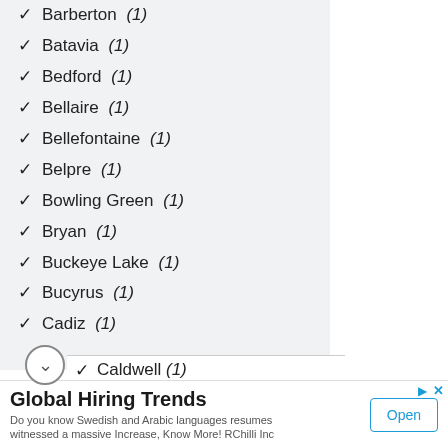✓ Barberton (1)
✓ Batavia (1)
✓ Bedford (1)
✓ Bellaire (1)
✓ Bellefontaine (1)
✓ Belpre (1)
✓ Bowling Green (1)
✓ Bryan (1)
✓ Buckeye Lake (1)
✓ Bucyrus (1)
✓ Cadiz (1)
✓ Caldwell (1)
Global Hiring Trends — Do you know Swedish and Arabic languages resumes witnessed a massive Increase, Know More! RChilli Inc